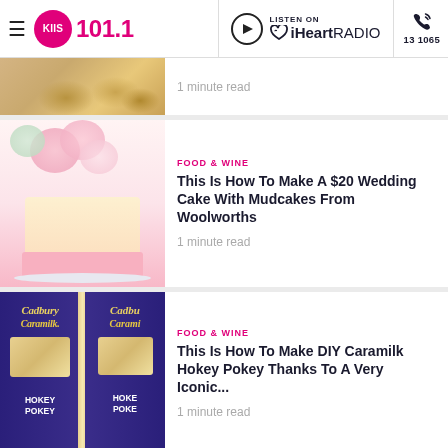KIIS 101.1 — LISTEN ON iHeartRADIO — 13 1065
[Figure (photo): Partial view of bread/pastry items, top of article card]
1 minute read
FOOD & WINE
[Figure (photo): Pink and white floral wedding cake with roses on top]
This Is How To Make A $20 Wedding Cake With Mudcakes From Woolworths
1 minute read
FOOD & WINE
[Figure (photo): Two Cadbury Caramilk Hokey Pokey chocolate bars side by side]
This Is How To Make DIY Caramilk Hokey Pokey Thanks To A Very Iconic...
1 minute read
[Figure (photo): Partial view of another food article image at bottom]